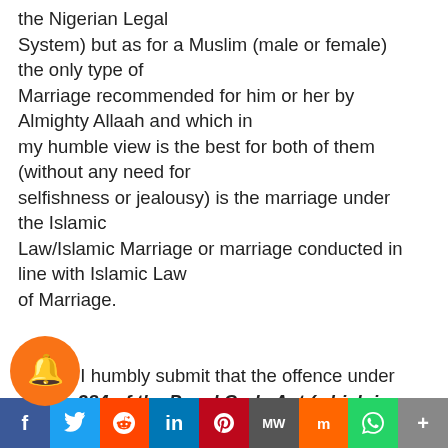the Nigerian Legal System) but as for a Muslim (male or female) the only type of Marriage recommended for him or her by Almighty Allaah and which in my humble view is the best for both of them (without any need for selfishness or jealousy) is the marriage under the Islamic Law/Islamic Marriage or marriage conducted in line with Islamic Law of Marriage.

Finally, I humbly submit that the offence under ection 384 of the Penal Code Act (which is
f  Twitter  Reddit  in  Pinterest  MW  Mix  WhatsApp  More